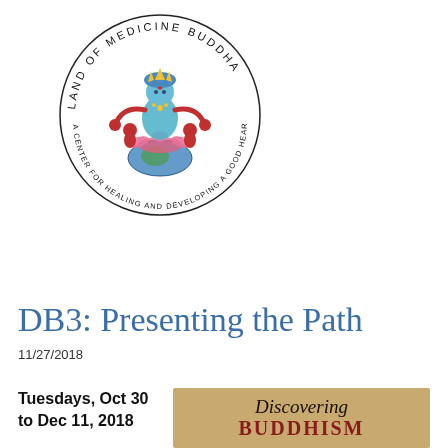[Figure (logo): Land of Medicine Buddha circular logo — a center for healing and developing a good heart — with colorful deity figure in center]
[Figure (screenshot): Blue navigation menu bar with 'Menu' text on left and hamburger icon button on right]
DB3: Presenting the Path
11/27/2018
Tuesdays, Oct 30 to Dec 11, 2018
[Figure (photo): Book cover showing 'Discovering BUDDHISM' text on a golden/tan background]